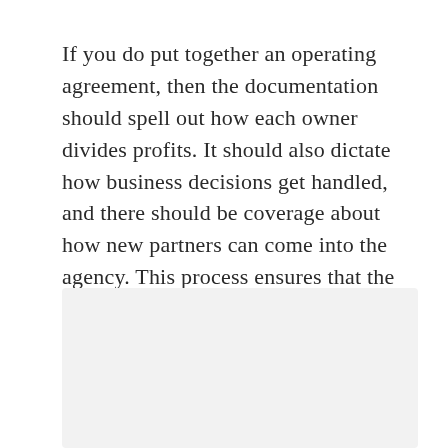If you do put together an operating agreement, then the documentation should spell out how each owner divides profits. It should also dictate how business decisions get handled, and there should be coverage about how new partners can come into the agency. This process ensures that the company operates by its own rules instead of the default ones mandated by the state.